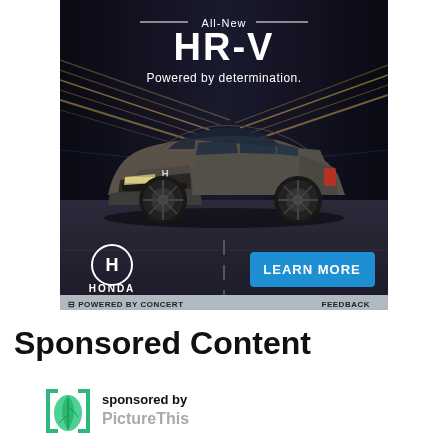[Figure (illustration): Honda HR-V advertisement. Dark background with motion-blurred tunnel lights. Text at top: 'All-New' with decorative lines, 'HR-V' in large white text, 'Powered by determination.' A gray Honda HR-V SUV is centered on a road. Bottom left shows Honda logo (H in circle) and 'HONDA' text. Bottom right shows a blue button with 'LEARN MORE' in white text. Below the ad: a gray bar with 'G POWERED BY CONCERT' on left and 'FEEDBACK' on right.]
Sponsored Content
[Figure (logo): PictureThis app logo — a green leaf icon in a rounded square bracket frame, followed by text 'sponsored by PictureThis']